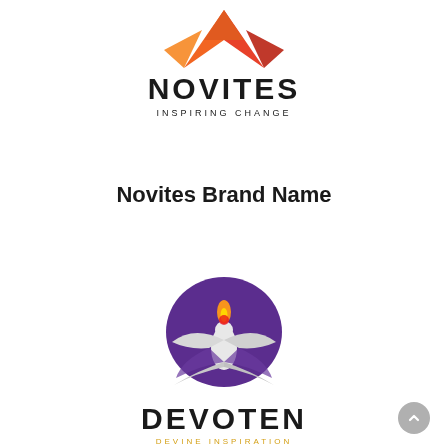[Figure (logo): Novites logo: orange/red stylized star or arrow shape above the text NOVITES in bold black uppercase letters, with tagline INSPIRING CHANGE in small spaced uppercase letters below]
Novites Brand Name
[Figure (logo): Devoten logo: white dove/phoenix bird with wings spread inside a purple oval circle, with orange and yellow flame on top; below is DEVOTEN in bold black uppercase letters and DEVINE INSPIRATION in gold/yellow spaced uppercase letters]